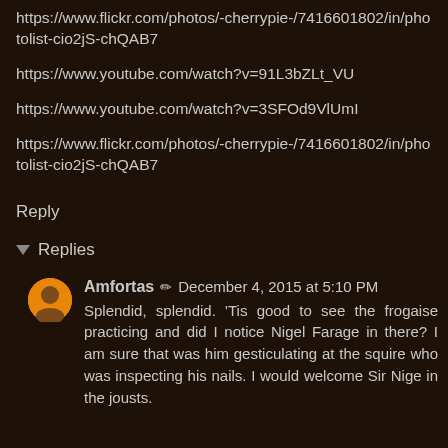https://www.flickr.com/photos/-cherrypie-/7416601802/in/photolist-cio2jS-chQAB7
https://www.youtube.com/watch?v=91L3bZLt_VU
https://www.youtube.com/watch?v=3SFOd9VlUmI
https://www.flickr.com/photos/-cherrypie-/7416601802/in/photolist-cio2jS-chQAB7
Reply
Replies
Amfortas ✏ December 4, 2015 at 5:10 PM
Splendid, splendid. 'Tis good to see the frogaise practicing and did I notice Nigel Farage in there? I am sure that was him gesticulating at the squire who was inspecting his nails. I would welcome Sir Nige in the jousts.